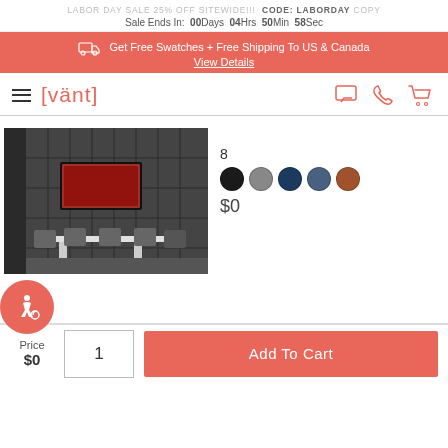LABOR DAY SALE 25% OFF SITEWIDE!!! CODE: LABORDAY COPY
Sale Ends In: 00Days 04Hrs 50Min 58Sec
Get Free Swatches + Free Shipping To US & Canada View Details
[Figure (logo): [vänt] brand logo with hamburger menu and navigation icons (chat, phone, cart) in coral/red color]
[Figure (photo): Dark upholstered wall panels in an office conference room with chairs and a table]
8
[Figure (other): Color swatches: black, gray, dark navy, slate blue, brown/tan]
$0
[Figure (infographic): Accessibility wheelchair icon in a coral circle badge]
Price $0
1
Add To Cart